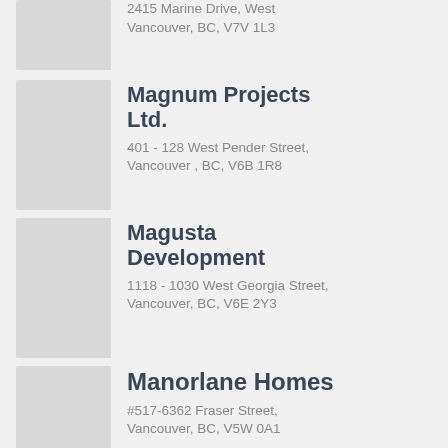2415 Marine Drive, West Vancouver, BC, V7V 1L3
Magnum Projects Ltd.
401 - 128 West Pender Street, Vancouver , BC, V6B 1R8
Magusta Development
1118 - 1030 West Georgia Street, Vancouver, BC, V6E 2Y3
Manorlane Homes
#517-6362 Fraser Street, Vancouver, BC, V5W 0A1
Marcon Developments Ltd.
5645 199 Street, Langley, BC, V3A 4J9